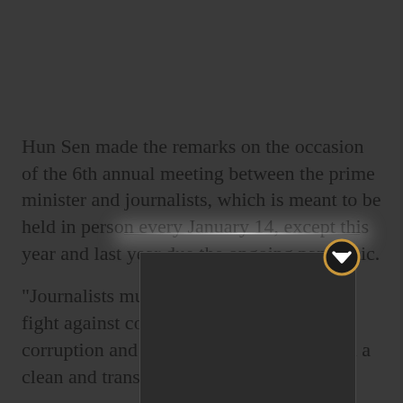Hun Sen made the remarks on the occasion of the 6th annual meeting between the prime minister and journalists, which is meant to be held in person every January 14, except this year and last year due the ongoing pandemic.
“Journalists must continue to help in the fight against complacency, cheating, corruption and injustice in society to build a clean and transparent Cambodia,” he said.
[Figure (other): A partially visible embedded video player or media widget with a dark background and a glowing top edge, and a Pocket save button icon (yellow circle with white chevron-down symbol) in the upper right corner.]